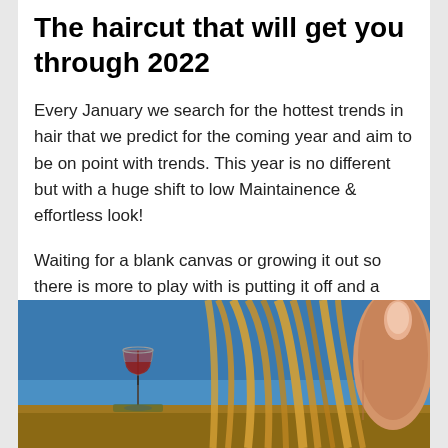The haircut that will get you through 2022
Every January we search for the hottest trends in hair that we predict for the coming year and aim to be on point with trends. This year is no different but with a huge shift to low Maintainence & effortless look!
Waiting for a blank canvas or growing it out so there is more to play with is putting it off and a truck your mind is playing. Why wait?
[Figure (photo): A hand holding blonde hair strands near a small wine glass on a wooden surface with a blue background]